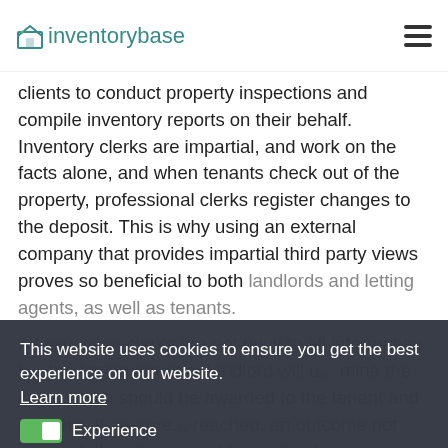inventorybase
clients to conduct property inspections and compile inventory reports on their behalf. Inventory clerks are impartial, and work on the facts alone, and when tenants check out of the property, professional clerks register changes to the deposit. This is why using an external company that provides impartial third party views proves so beneficial to both landlords and letting agents, as well as tenants.
This website uses cookies to ensure you get the best experience on our website. Learn more
Experience
Marketing
Save Settings   Allow
A ... clerks are not privy to all information h... the letting agent or landlord will u... mine the costs which should be awarded to the tenant and landlord. If an agre... reached, an outcome not attained, then they are able to take the matter to arbitration.